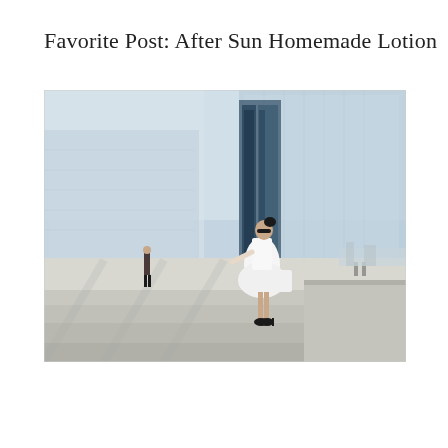Favorite Post: After Sun Homemade Lotion
[Figure (photo): A woman in a white dress and black high heels, wearing sunglasses, standing on a wide open plaza area with concrete steps and large glass buildings in the background. A man in dark shorts is visible in the distance on the left. The scene is bright and airy with a light blue-grey sky and reflective glass architecture.]